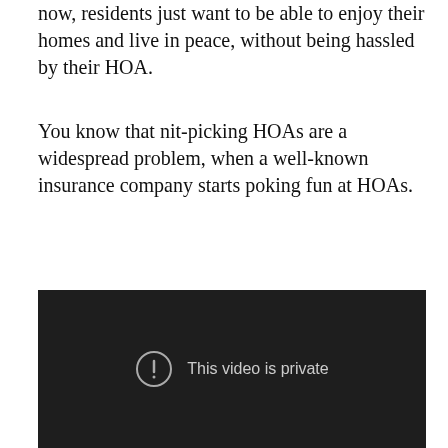now, residents just want to be able to enjoy their homes and live in peace, without being hassled by their HOA.
You know that nit-picking HOAs are a widespread problem, when a well-known insurance company starts poking fun at HOAs.
[Figure (screenshot): Embedded video player showing a dark/black background with a circular exclamation mark icon and the message 'This video is private' in light gray text.]